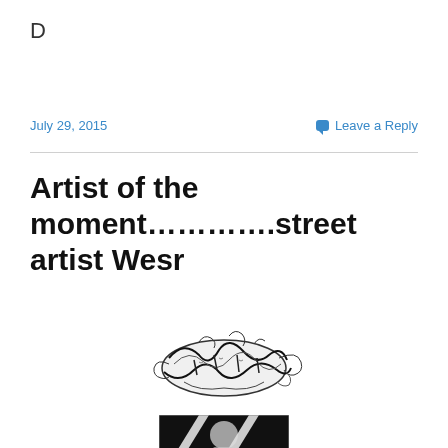D
July 29, 2015
Leave a Reply
Artist of the moment…………..street artist Wesr
[Figure (illustration): Black and white graffiti/street art sketch drawing of stylized lettering or figure, horizontal composition]
[Figure (photo): Black and white photograph partially visible, appears to show geometric shapes or street art]